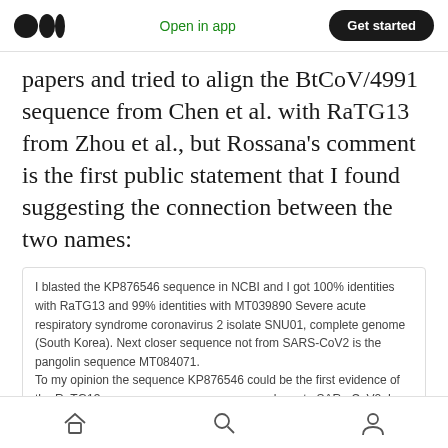Open in app | Get started
papers and tried to align the BtCoV/4991 sequence from Chen et al. with RaTG13 from Zhou et al., but Rossana's comment is the first public statement that I found suggesting the connection between the two names:
I blasted the KP876546 sequence in NCBI and I got 100% identities with RaTG13 and 99% identities with MT039890 Severe acute respiratory syndrome coronavirus 2 isolate SNU01, complete genome (South Korea). Next closer sequence not from SARS-CoV2 is the pangolin sequence MT084071.
To my opinion the sequence KP876546 could be the first evidence of the RaTG13 sequence or a sequence even closer to SARs-CoV2. In Ge et al., it is stated that the 370 bp sequence was prolonged of 816 bp and the spike protein was sequenced but this information for this sample has been not made public.
Comment by Rossana Segreto on Virology blog, 16th March